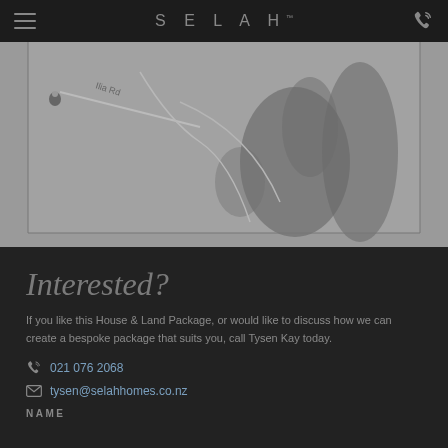SELAH™
[Figure (map): Greyscale map showing a road labeled 'Ilia Rd' with a location pin, and dark terrain blobs indicating topography.]
Interested?
If you like this House & Land Package, or would like to discuss how we can create a bespoke package that suits you, call Tysen Kay today.
021 076 2068
tysen@selahhomes.co.nz
NAME